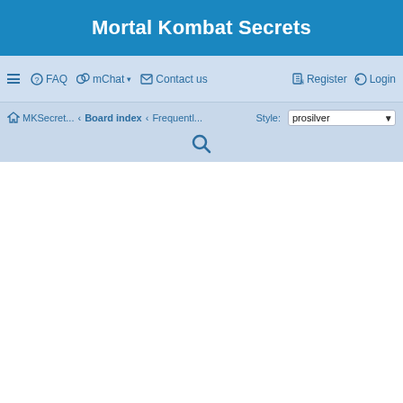Mortal Kombat Secrets
☰  FAQ  mChat ▾  Contact us  Register  Login
MKSecret... › Board index › Frequentl...  Style: prosilver  🔍